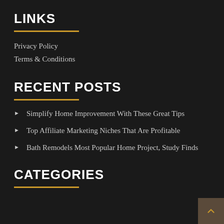LINKS
Privacy Policy
Terms & Conditions
RECENT POSTS
Simplify Home Improvement With These Great Tips
Top Affiliate Marketing Niches That Are Profitable
Bath Remodels Most Popular Home Project, Study Finds
CATEGORIES